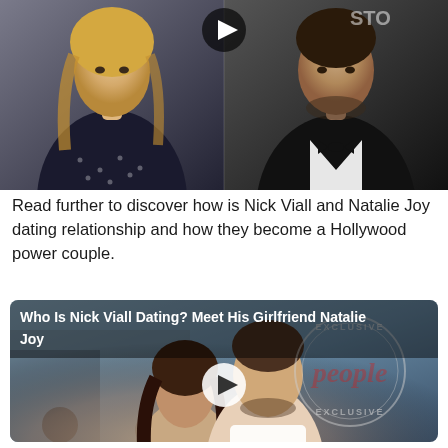[Figure (photo): Two people side by side: a blonde woman in a dark polka dot dress on the left, and a man in a black tuxedo with bow tie on the right. A play button icon is visible at the top center.]
Read further to discover how is Nick Viall and Natalie Joy dating relationship and how they become a Hollywood power couple.
[Figure (photo): Video thumbnail from People magazine showing Nick Viall and Natalie Joy as a couple, with a People Exclusive watermark and a play button overlay. Title reads: Who Is Nick Viall Dating? Meet His Girlfriend Natalie Joy]